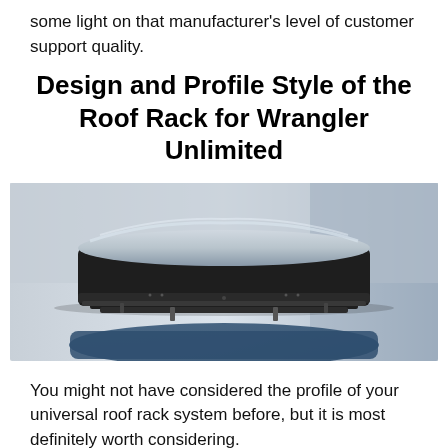some light on that manufacturer's level of customer support quality.
Design and Profile Style of the Roof Rack for Wrangler Unlimited
[Figure (photo): A large black roof cargo box mounted on a roof rack on top of a blue vehicle, photographed against a blurred background.]
You might not have considered the profile of your universal roof rack system before, but it is most definitely worth considering.